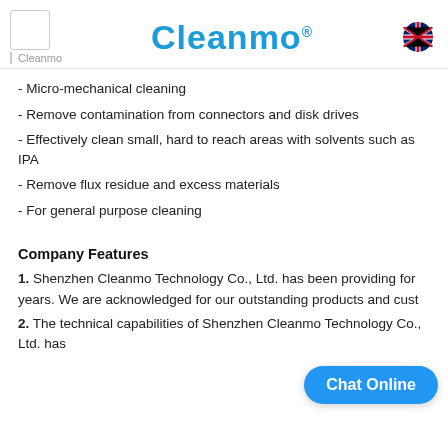Cleanmo
- Micro-mechanical cleaning
- Remove contamination from connectors and disk drives
- Effectively clean small, hard to reach areas with solvents such as IPA
- Remove flux residue and excess materials
- For general purpose cleaning
Company Features
1. Shenzhen Cleanmo Technology Co., Ltd. has been providing for years. We are acknowledged for our outstanding products and cust
2. The technical capabilities of Shenzhen Cleanmo Technology Co., Ltd. has